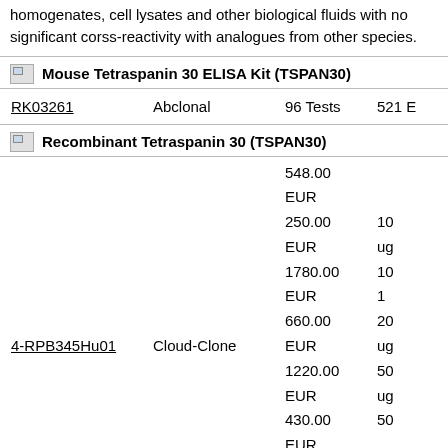homogenates, cell lysates and other biological fluids with no significant corss-reactivity with analogues from other species.
[Figure (photo): Small broken image icon placeholder]
Mouse Tetraspanin 30 ELISA Kit (TSPAN30)
| ID | Supplier | Size | Price |
| --- | --- | --- | --- |
| RK03261 | Abclonal | 96 Tests | 521 E... |
[Figure (photo): Small broken image icon placeholder]
Recombinant Tetraspanin 30 (TSPAN30)
| ID | Supplier | Price | Size |
| --- | --- | --- | --- |
|  |  | 548.00 |  |
|  |  | EUR |  |
|  |  | 250.00 | 10... |
|  |  | EUR | ug... |
|  |  | 1780.00 | 10... |
|  |  | EUR | 1... |
|  |  | 660.00 | 20... |
| 4-RPB345Hu01 | Cloud-Clone | EUR | ug... |
|  |  | 1220.00 | 50... |
|  |  | EUR | ug... |
|  |  | 430.00 | 50... |
|  |  | EUR |  |